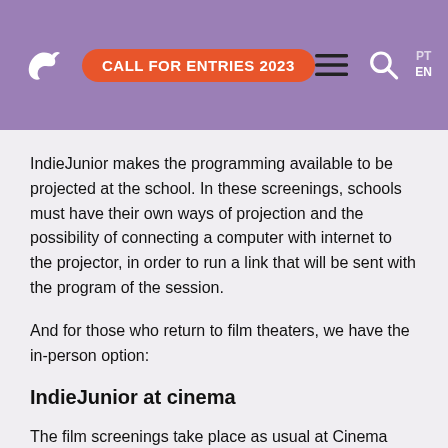[Figure (other): Website header with purple background, bird logo, orange 'CALL FOR ENTRIES 2023' button, hamburger menu icon, search icon, and PT/EN language switcher]
IndieJunior makes the programming available to be projected at the school. In these screenings, schools must have their own ways of projection and the possibility of connecting a computer with internet to the projector, in order to run a link that will be sent with the program of the session.
And for those who return to film theaters, we have the in-person option:
IndieJunior at cinema
The film screenings take place as usual at Cinema São Jorge and Culturgest.
Both the cinema screenings and the school screenings can